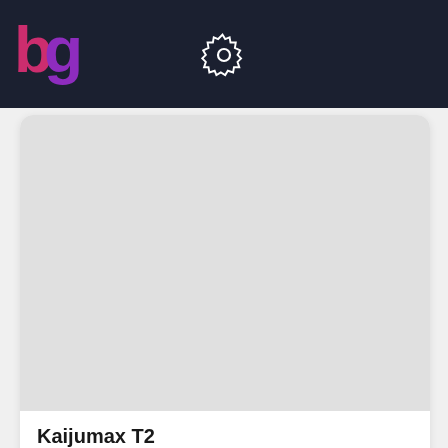bg [logo] [settings icon]
[Figure (screenshot): Card image placeholder for Kaijumax T2, light gray background]
Kaijumax T2
20  Voter
[Figure (screenshot): Second card image placeholder with rank badge showing 53, purple rounded badge in top-left corner]